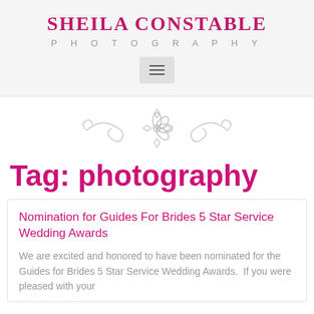SHEILA CONSTABLE
PHOTOGRAPHY
[Figure (other): Hamburger menu icon button (three horizontal lines) in a grey rounded square]
[Figure (illustration): Decorative ornamental flourish with flower and curled scroll design in light grey]
Tag: photography
Nomination for Guides For Brides 5 Star Service Wedding Awards
We are excited and honored to have been nominated for the Guides for Brides 5 Star Service Wedding Awards.  If you were pleased with your